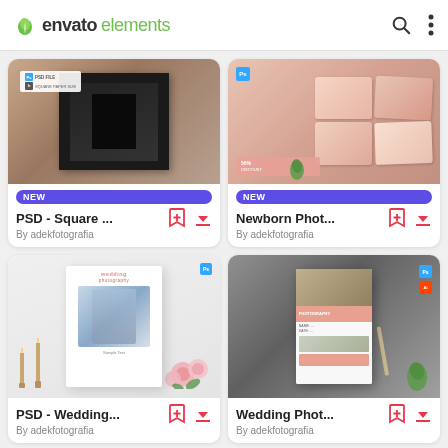envato elements
[Figure (screenshot): Envato Elements app screenshot showing 4 product cards in a 2x2 grid: PSD Square template, Newborn Photography template, PSD Wedding template, Wedding Photography template, all by adekfotografia]
PSD - Square ...
By adekfotografia
Newborn Phot...
By adekfotografia
PSD - Wedding...
By adekfotografia
Wedding Phot...
By adekfotografia